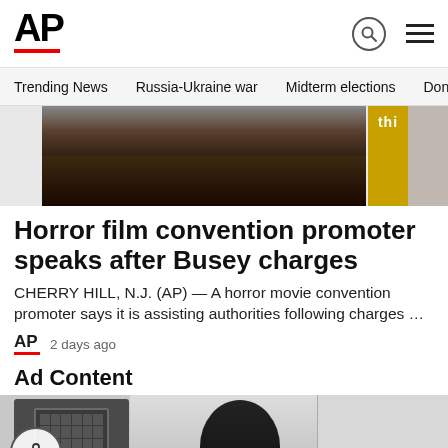AP
Trending News · Russia-Ukraine war · Midterm elections · Dona
[Figure (photo): Cropped photo of a man in a dark suit with a tie, from chin down, with a yellow banner on the right side showing partial text 'thi']
Horror film convention promoter speaks after Busey charges
CHERRY HILL, N.J. (AP) — A horror movie convention promoter says it is assisting authorities following charges …
AP  2 days ago
Ad Content
[Figure (photo): Ad content image showing a microwave and a person's head in a kitchen setting]